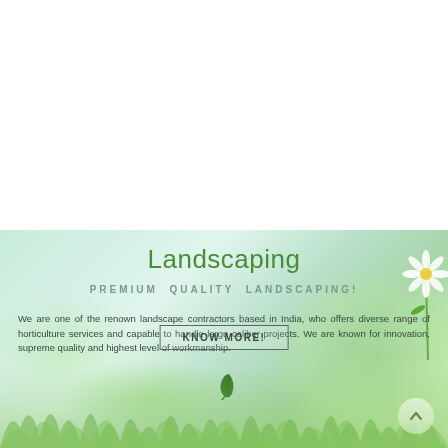[Figure (photo): White background upper portion of webpage]
[Figure (illustration): Light green and teal landscaping banner background with flowers, grass and bokeh effects]
Landscaping
PREMIUM QUALITY LANDSCAPING!
We are one of the renown landscape contractors based in India, who offers diverse range of horticulture services and capable to handle large caliber projects. We are known for innovation, supreme quality and highest level of workmanship.
KNOW MORE!